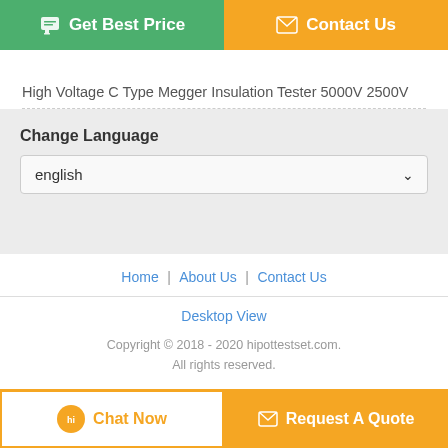[Figure (screenshot): Green 'Get Best Price' button with chat icon on left, orange 'Contact Us' button with envelope icon on right]
High Voltage C Type Megger Insulation Tester 5000V 2500V
Change Language
english
Home | About Us | Contact Us
Desktop View
Copyright © 2018 - 2020 hipottestset.com. All rights reserved.
[Figure (screenshot): Bottom bar with 'Chat Now' button (white background, orange border) and 'Request A Quote' button (orange background)]